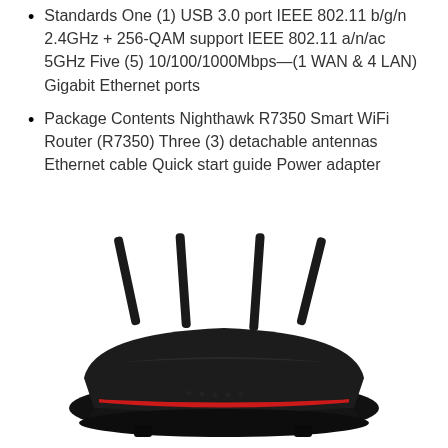Standards One (1) USB 3.0 port IEEE 802.11 b/g/n 2.4GHz + 256-QAM support IEEE 802.11 a/n/ac 5GHz Five (5) 10/100/1000Mbps—(1 WAN & 4 LAN) Gigabit Ethernet ports
Package Contents Nighthawk R7350 Smart WiFi Router (R7350) Three (3) detachable antennas Ethernet cable Quick start guide Power adapter
[Figure (photo): Photo of a Nighthawk R7350 Smart WiFi Router with four external antennas, black color with red accent stripe, viewed from front-top angle.]